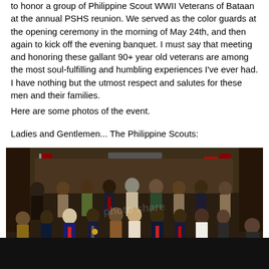to honor a group of Philippine Scout WWII Veterans of Bataan at the annual PSHS reunion. We served as the color guards at the opening ceremony in the morning of May 24th, and then again to kick off the evening banquet. I must say that meeting and honoring these gallant 90+ year old veterans are among the most soul-fulfilling and humbling experiences I've ever had. I have nothing but the utmost respect and salutes for these men and their families.
Here are some photos of the event.
Ladies and Gentlemen... The Philippine Scouts:
[Figure (photo): A group photo of Philippine Scout WWII Veterans of Bataan seated and standing in rows in a banquet hall. The front row shows elderly veterans seated in chairs, some in formal attire, one in a wheelchair. The back row shows younger individuals including military personnel in uniform. An American flag is visible in the background.]